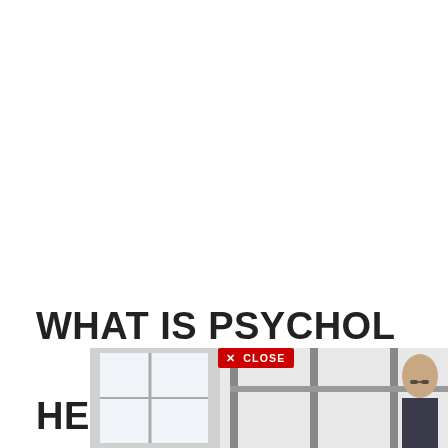WHAT IS PSYCHOLOGY CLICKS HERE 👇👇👇👇👇
[Figure (screenshot): X CLOSE badge overlaid on the title text, red background with white text]
[Figure (screenshot): Gray scroll-to-top button with upward chevron arrow, bottom right corner]
[Figure (photo): Partial photo of office interior with a woman wearing glasses visible at bottom of page]